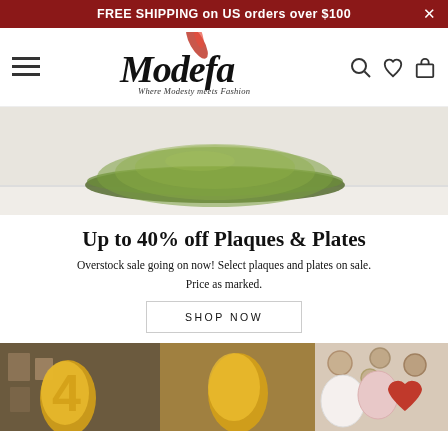FREE SHIPPING on US orders over $100
[Figure (logo): Modefa logo — cursive script with red feather, tagline: Where Modesty meets Fashion]
[Figure (photo): Green glass plate/bowl on a white surface against a textured white wall]
Up to 40% off Plaques & Plates
Overstock sale going on now! Select plaques and plates on sale. Price as marked.
SHOP NOW
[Figure (photo): Bottom strip showing gold number balloons on left and center, pink and red heart balloons on right with decorative plates in background]